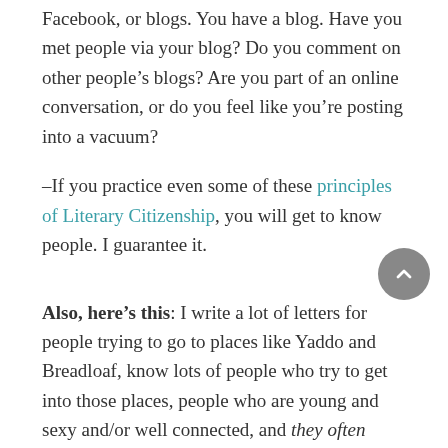Facebook, or blogs. You have a blog. Have you met people via your blog? Do you comment on other people’s blogs? Are you part of an online conversation, or do you feel like you’re posting into a vacuum?
–If you practice even some of these principles of Literary Citizenship, you will get to know people. I guarantee it.
Also, here’s this: I write a lot of letters for people trying to go to places like Yaddo and Breadloaf, know lots of people who try to get into those places, people who are young and sexy and/or well connected, and they often can’t get in either. We’re in a really competitive field, as you know.
But maybe what you’re really asking about is WHY DO WE NEED LETTERS AT ALL? Why can’t the work